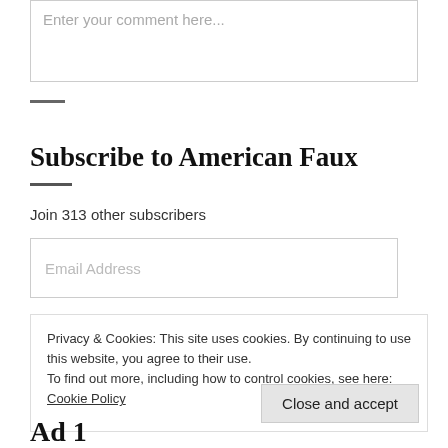Enter your comment here...
Subscribe to American Faux
Join 313 other subscribers
Email Address
Privacy & Cookies: This site uses cookies. By continuing to use this website, you agree to their use.
To find out more, including how to control cookies, see here: Cookie Policy
Close and accept
Ad 1